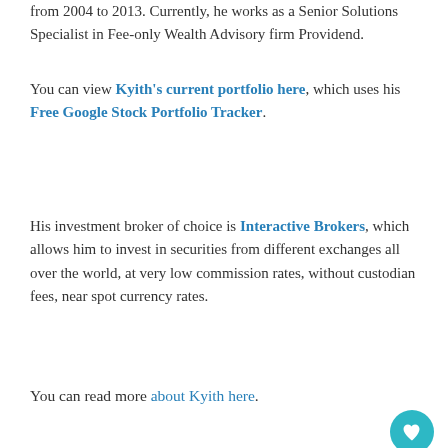from 2004 to 2013. Currently, he works as a Senior Solutions Specialist in Fee-only Wealth Advisory firm Providend.
You can view Kyith's current portfolio here, which uses his Free Google Stock Portfolio Tracker.
His investment broker of choice is Interactive Brokers, which allows him to invest in securities from different exchanges all over the world, at very low commission rates, without custodian fees, near spot currency rates.
You can read more about Kyith here.
Share this:
Twitter Facebook Telegram